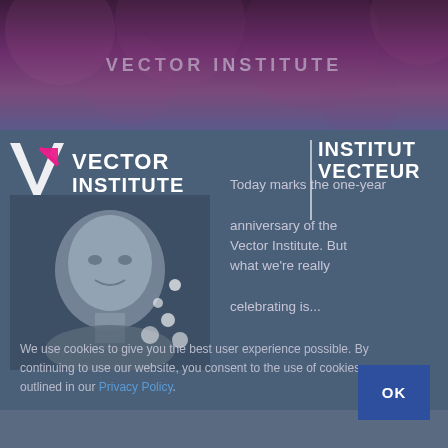[Figure (screenshot): Top banner of Vector Institute website with purple/dark overlay and circular decorative elements, showing 'VECTOR INSTITUTE' text watermark]
[Figure (logo): Vector Institute logo with stylized V arrow mark in white and pink, text 'VECTOR INSTITUTE' and 'INSTITUT VECTEUR' in white bold]
[Figure (photo): Grayscale photo of a man's face/head in the middle section of the page on dark blue background]
Today marks the one-year anniversary of the Vector Institute. But what we're really celebrating is...
We use cookies to give you the best user experience possible. By continuing to use our website, you consent to the use of cookies as outlined in our Privacy Policy.